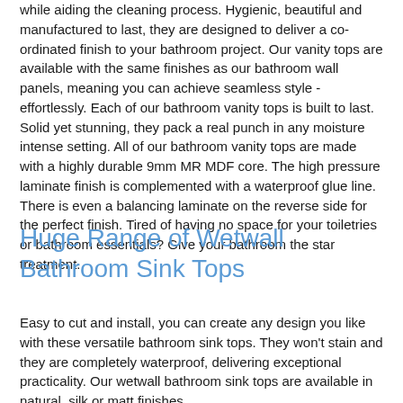while aiding the cleaning process. Hygienic, beautiful and manufactured to last, they are designed to deliver a co-ordinated finish to your bathroom project. Our vanity tops are available with the same finishes as our bathroom wall panels, meaning you can achieve seamless style - effortlessly. Each of our bathroom vanity tops is built to last. Solid yet stunning, they pack a real punch in any moisture intense setting. All of our bathroom vanity tops are made with a highly durable 9mm MR MDF core. The high pressure laminate finish is complemented with a waterproof glue line. There is even a balancing laminate on the reverse side for the perfect finish. Tired of having no space for your toiletries or bathroom essentials? Give your bathroom the star treatment.
Huge Range of Wetwall Bathroom Sink Tops
Easy to cut and install, you can create any design you like with these versatile bathroom sink tops. They won't stain and they are completely waterproof, delivering exceptional practicality. Our wetwall bathroom sink tops are available in natural, silk or matt finishes.